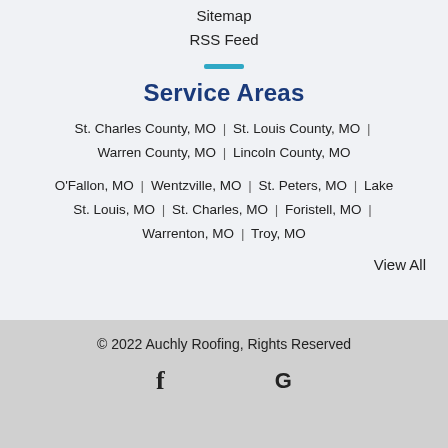Sitemap
RSS Feed
Service Areas
St. Charles County, MO | St. Louis County, MO | Warren County, MO | Lincoln County, MO
O'Fallon, MO | Wentzville, MO | St. Peters, MO | Lake St. Louis, MO | St. Charles, MO | Foristell, MO | Warrenton, MO | Troy, MO
View All
© 2022 Auchly Roofing, Rights Reserved